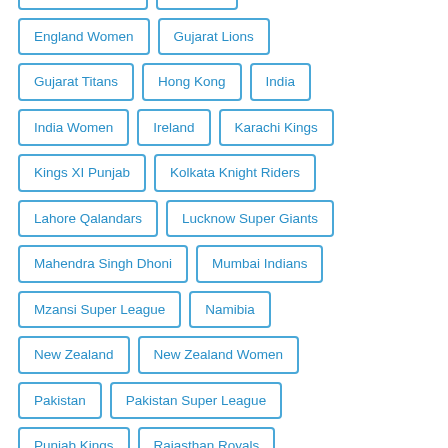Delhi Daredevils
England
England Women
Gujarat Lions
Gujarat Titans
Hong Kong
India
India Women
Ireland
Karachi Kings
Kings XI Punjab
Kolkata Knight Riders
Lahore Qalandars
Lucknow Super Giants
Mahendra Singh Dhoni
Mumbai Indians
Mzansi Super League
Namibia
New Zealand
New Zealand Women
Pakistan
Pakistan Super League
Punjab Kings
Rajasthan Royals